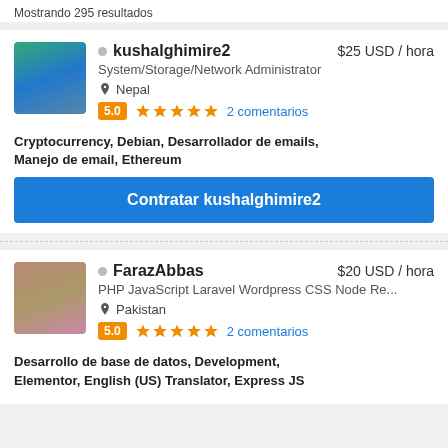Mostrando 295 resultados
kushalghimire2  $25 USD / hora
System/Storage/Network Administrator
Nepal
5.0 ★★★★★ 2 comentarios
Cryptocurrency, Debian, Desarrollador de emails, Manejo de email, Ethereum
Contratar kushalghimire2
FarazAbbas  $20 USD / hora
PHP JavaScript Laravel Wordpress CSS Node Re...
Pakistan
5.0 ★★★★★ 2 comentarios
Desarrollo de base de datos, Development, Elementor, English (US) Translator, Express JS